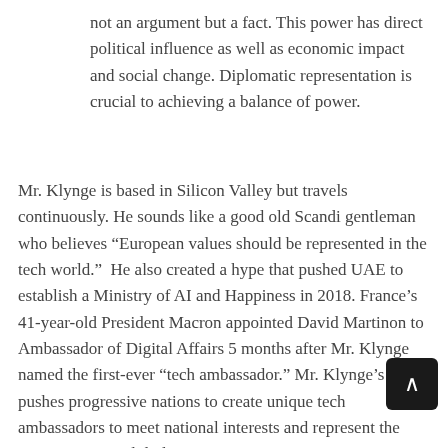not an argument but a fact. This power has direct political influence as well as economic impact and social change. Diplomatic representation is crucial to achieving a balance of power.
Mr. Klynge is based in Silicon Valley but travels continuously. He sounds like a good old Scandi gentleman who believes “European values should be represented in the tech world.”  He also created a hype that pushed UAE to establish a Ministry of AI and Happiness in 2018. France’s 41-year-old President Macron appointed David Martinon to Ambassador of Digital Affairs 5 months after Mr. Klynge named the first-ever “tech ambassador.” Mr. Klynge’s office pushes progressive nations to create unique tech ambassadors to meet national interests and represent the country in virtual diplomacy.